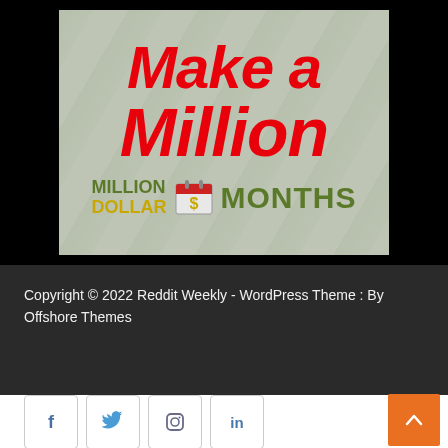[Figure (illustration): Promotional graphic for 'Make a Million' with text 'Make a Million' in large red italic font on a money-background image, with 'MILLION DOLLAR $ MONTHS' branding below]
Copyright © 2022 Reddit Weekly - WordPress Theme : By Offshore Themes
[Figure (infographic): Social media icon buttons: Facebook, Twitter, Instagram, LinkedIn — square outlined boxes with icons in blue/grey]
[Figure (other): Orange back-to-top button with upward caret arrow in bottom right corner]